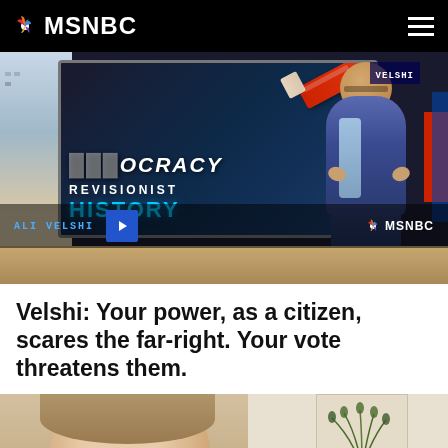MSNBC
[Figure (screenshot): MSNBC video thumbnail showing Ali Velshi standing in front of a TV screen displaying 'REVISIONIST HISTORY' text with a pencil eraser graphic over the word 'DEMOCRACY'. Blue play button overlay visible. MSNBC watermark in bottom right.]
ALI VELSHI
Velshi: Your power, as a citizen, scares the far-right. Your vote threatens them.
[Figure (photo): Partial view of a woman with blonde/light brown hair in the lower portion of the page, with a wall decoration visible in the background.]